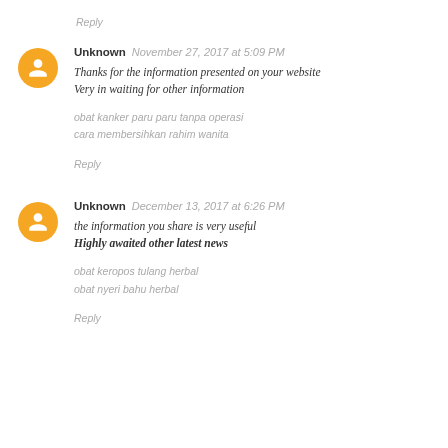Reply
Unknown  November 27, 2017 at 5:09 PM
Thanks for the information presented on your website
Very in waiting for other information
obat kanker paru paru tanpa operasi
cara membersihkan rahim wanita
Reply
Unknown  December 13, 2017 at 6:26 PM
the information you share is very useful
Highly awaited other latest news
obat keropos tulang herbal
obat nyeri bahu herbal
Reply